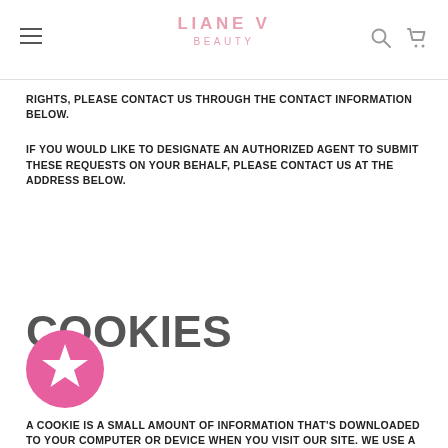LIANE V BEAUTY
RIGHTS, PLEASE CONTACT US THROUGH THE CONTACT INFORMATION BELOW.
IF YOU WOULD LIKE TO DESIGNATE AN AUTHORIZED AGENT TO SUBMIT THESE REQUESTS ON YOUR BEHALF, PLEASE CONTACT US AT THE ADDRESS BELOW.
COOKIES
A COOKIE IS A SMALL AMOUNT OF INFORMATION THAT'S DOWNLOADED TO YOUR COMPUTER OR DEVICE WHEN YOU VISIT OUR SITE. WE USE A